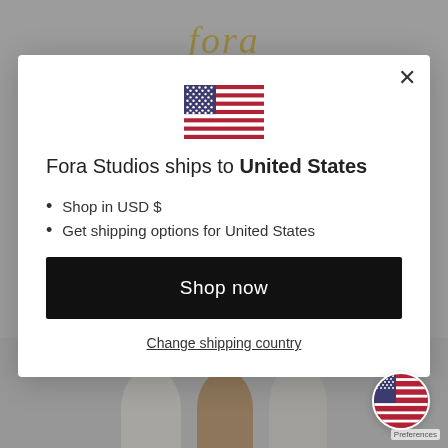[Figure (screenshot): Background showing Fora Studios website with logo and product imagery, partially obscured by modal overlay]
[Figure (illustration): US flag SVG inside modal dialog]
Fora Studios ships to United States
Shop in USD $
Get shipping options for United States
Shop now
Change shipping country